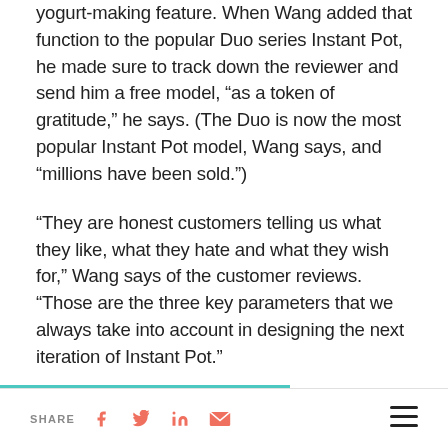yogurt-making feature. When Wang added that function to the popular Duo series Instant Pot, he made sure to track down the reviewer and send him a free model, “as a token of gratitude,” he says. (The Duo is now the most popular Instant Pot model, Wang says, and “millions have been sold.”)
“They are honest customers telling us what they like, what they hate and what they wish for,” Wang says of the customer reviews. “Those are the three key parameters that we always take into account in designing the next iteration of Instant Pot.”
SHARE [facebook] [twitter] [linkedin] [email] [menu]